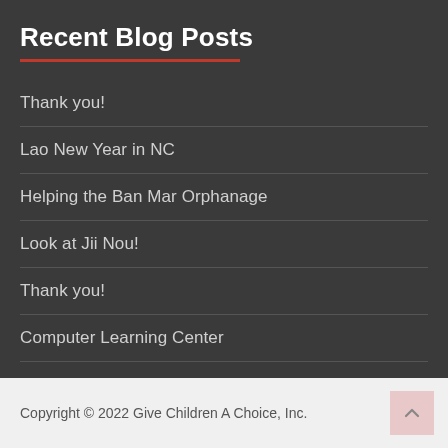Recent Blog Posts
Thank you!
Lao New Year in NC
Helping the Ban Mar Orphanage
Look at Jii Nou!
Thank you!
Computer Learning Center
Ban Mar Orphanage
Copyright © 2022 Give Children A Choice, Inc.